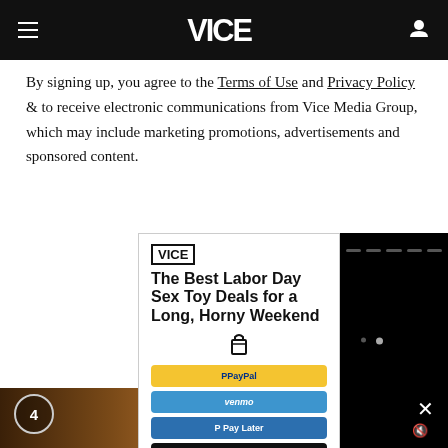VICE
By signing up, you agree to the Terms of Use and Privacy Policy & to receive electronic communications from Vice Media Group, which may include marketing promotions, advertisements and sponsored content.
[Figure (screenshot): VICE branded advertisement card showing 'The Best Labor Day Sex Toy Deals for a Long, Horny Weekend' with payment buttons (PayPal, Venmo, Pay Later, Credit Card) and a shopping basket icon]
[Figure (screenshot): Black video player area with loading dots indicator]
[Figure (photo): Bottom portion showing a woman with curly hair in a yellow/mustard sweater holding a phone, with video overlay UI elements including a circle countdown '4', close button X, and mute button]